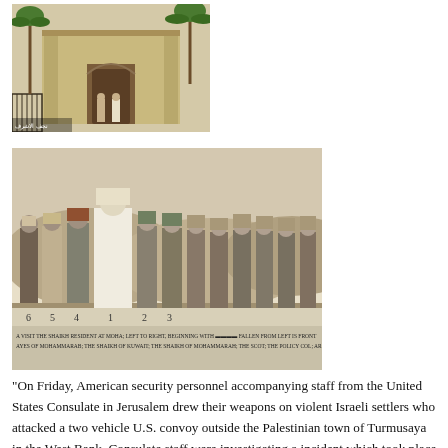[Figure (photo): Color photograph of a building exterior with palm trees, ornate gate, and people in traditional Middle Eastern dress standing in front.]
[Figure (photo): Black and white historical photograph of a group of men, some in Arab dress and some in Western/military uniforms, standing in a line outdoors. Numbers 1-6 are labeled below the figures. Caption text at bottom reads about a visit, names including references to Mohammed, Kuwait, Muhammarah, and a Political Officer.]
“On Friday, American security personnel accompanying staff from the United States Consulate in Jerusalem drew their weapons on violent Israeli settlers who attacked a two vehicle U.S. convoy outside the Palestinian town of Turmusaya in the West Bank. Consulate staff were investigating a incident which took place on private Palestinian